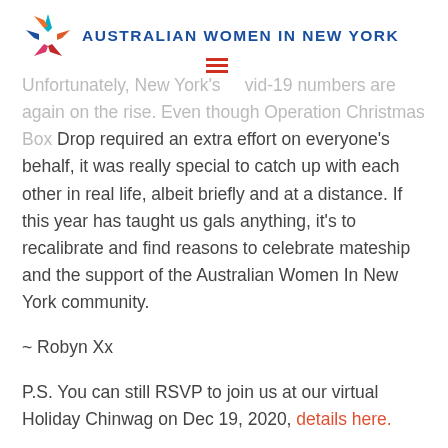[Figure (logo): Australian Women In New York logo with colorful star/pinwheel icon and organization name in blue uppercase letters]
Unfortunately, New York's Covid-19 numbers are again on the rise. Even though Operation Christmas Box Drop required an extra effort on everyone's behalf, it was really special to catch up with each other in real life, albeit briefly and at a distance. If this year has taught us gals anything, it's to recalibrate and find reasons to celebrate mateship and the support of the Australian Women In New York community.
~ Robyn Xx
P.S. You can still RSVP to join us at our virtual Holiday Chinwag on Dec 19, 2020, details here.